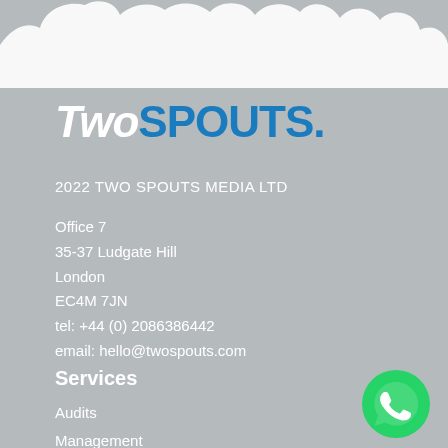[Figure (logo): TwoSpouts logo with white italic 'Two' and blue bold 'SPOUTS.' text]
2022 TWO SPOUTS MEDIA LTD
Office 7
35-37 Ludgate Hill
London
EC4M 7JN
tel: +44 (0) 2086386442
email: hello@twospouts.com
Services
Audits
Management
[Figure (logo): WhatsApp green circle logo icon in bottom right corner]